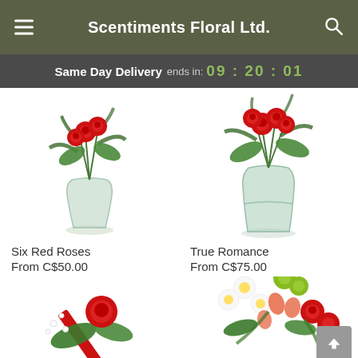Scentiments Floral Ltd.
Same Day Delivery ends in: 09 : 20 : 01
[Figure (photo): Six Red Roses arrangement in a glass vase with greenery]
Six Red Roses
From C$50.00
[Figure (photo): True Romance arrangement — red roses with lush greenery in a tall glass vase]
True Romance
From C$75.00
[Figure (photo): Single red rose with ribbon and baby's breath]
[Figure (photo): Mixed floral arrangement with white daisies, pink alstroemeria, red roses and green button mums]